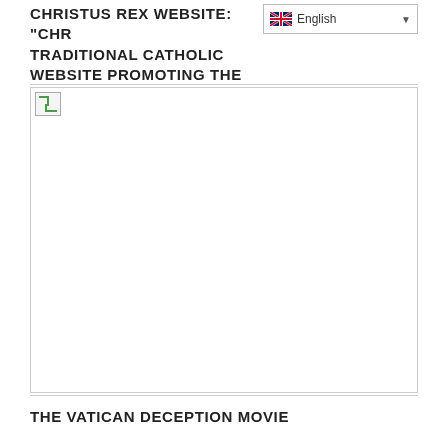CHRISTUS REX WEBSITE: "CHR TRADITIONAL CATHOLIC WEBSITE PROMOTING THE KINGSHIP OF CHRIST"
[Figure (photo): Broken image placeholder with border, shown as a small icon with a green arrow graphic in upper-left corner of a large bordered image area]
THE VATICAN DECEPTION MOVIE